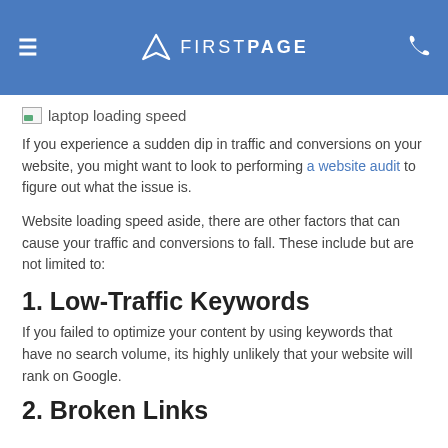FIRSTPAGE
[Figure (photo): laptop loading speed image placeholder]
If you experience a sudden dip in traffic and conversions on your website, you might want to look to performing a website audit to figure out what the issue is.
Website loading speed aside, there are other factors that can cause your traffic and conversions to fall. These include but are not limited to:
1. Low-Traffic Keywords
If you failed to optimize your content by using keywords that have no search volume, its highly unlikely that your website will rank on Google.
2. Broken Links